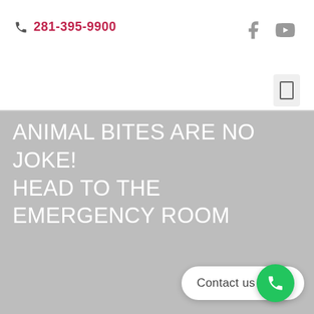📞 281-395-9900
[Figure (screenshot): Gray hero banner with white large text: ANIMAL BITES ARE NO JOKE! HEAD TO THE EMERGENCY ROOM, and a Contact us button with green phone icon circle in the bottom-right corner.]
Contact us